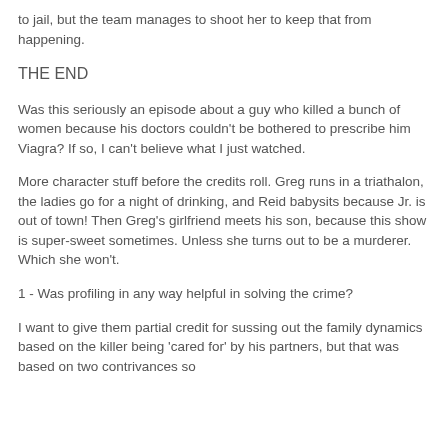to jail, but the team manages to shoot her to keep that from happening.
THE END
Was this seriously an episode about a guy who killed a bunch of women because his doctors couldn't be bothered to prescribe him Viagra? If so, I can't believe what I just watched.
More character stuff before the credits roll. Greg runs in a triathalon, the ladies go for a night of drinking, and Reid babysits because Jr. is out of town! Then Greg's girlfriend meets his son, because this show is super-sweet sometimes. Unless she turns out to be a murderer. Which she won't.
1 - Was profiling in any way helpful in solving the crime?
I want to give them partial credit for sussing out the family dynamics based on the killer being 'cared for' by his partners, but that was based on two contrivances so